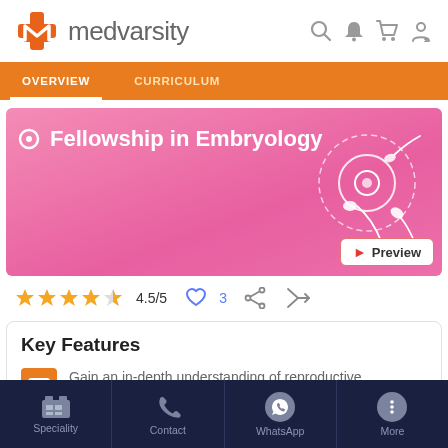[Figure (logo): Medvarsity logo with orange plus/M icon and grey text 'medvarsity']
OVERVIEW   CURRICULUM
[Figure (illustration): Pink banner with white sperm/egg embryology illustration and title 'Fellowship in Embryology']
4.5/5  ♡3
Key Features
Gain an in-depth understanding of reproductive anatomy and physiology
Speciality   Contact   WhatsApp   More